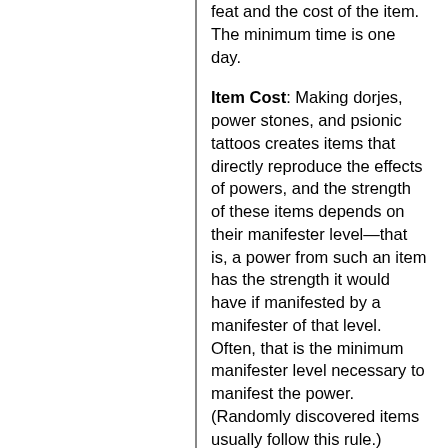feat and the cost of the item. The minimum time is one day.
Item Cost: Making dorjes, power stones, and psionic tattoos creates items that directly reproduce the effects of powers, and the strength of these items depends on their manifester level—that is, a power from such an item has the strength it would have if manifested by a manifester of that level. Often, that is the minimum manifester level necessary to manifest the power. (Randomly discovered items usually follow this rule.) However, when making such an item, the item's strength can be set higher than the minimum. Any time...